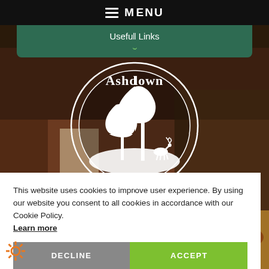MENU
Useful Links
[Figure (logo): Ashdown logo: circular emblem with trees and a deer silhouette on a hillside, white on dark background. Text 'Ashdown' at top of circle.]
[Figure (photo): Background photo of a brick building exterior with outdoor decking, flower pots with pink flowers visible on the right side.]
This website uses cookies to improve user experience. By using our website you consent to all cookies in accordance with our Cookie Policy. Learn more
DECLINE
ACCEPT